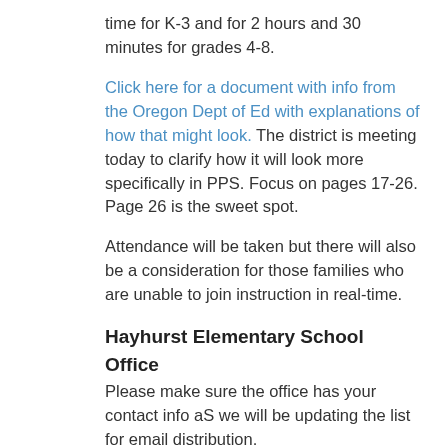time for K-3 and for 2 hours and 30 minutes for grades 4-8.
Click here for a document with info from the Oregon Dept of Ed with explanations of how that might look. The district is meeting today to clarify how it will look more specifically in PPS. Focus on pages 17-26. Page 26 is the sweet spot.
Attendance will be taken but there will also be a consideration for those families who are unable to join instruction in real-time.
Hayhurst Elementary School Office
Please make sure the office has your contact info aS we will be updating the list for email distribution. Click here to email Kathy Lee.
Seesaw
Seesaw will be used for all grades and there was discussion about how frustrating this format is for